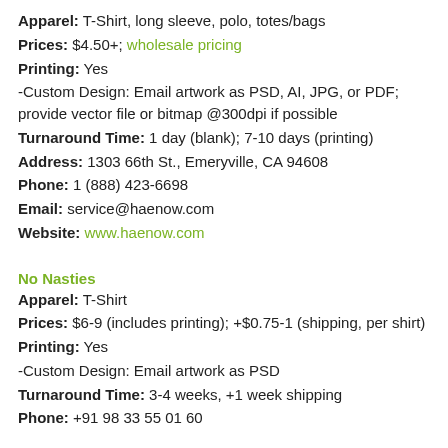Apparel: T-Shirt, long sleeve, polo, totes/bags
Prices: $4.50+; wholesale pricing
Printing: Yes
-Custom Design: Email artwork as PSD, AI, JPG, or PDF; provide vector file or bitmap @300dpi if possible
Turnaround Time: 1 day (blank); 7-10 days (printing)
Address: 1303 66th St., Emeryville, CA 94608
Phone: 1 (888) 423-6698
Email: service@haenow.com
Website: www.haenow.com
No Nasties
Apparel: T-Shirt
Prices: $6-9 (includes printing); +$0.75-1 (shipping, per shirt)
Printing: Yes
-Custom Design: Email artwork as PSD
Turnaround Time: 3-4 weeks, +1 week shipping
Phone: +91 98 33 55 01 60